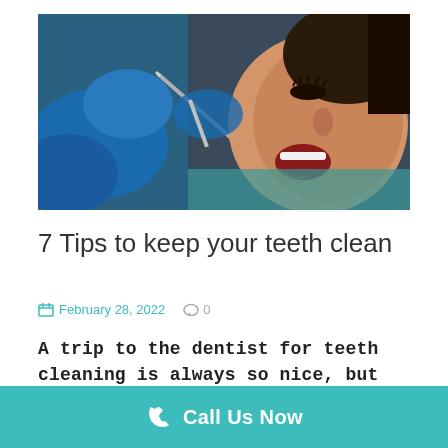[Figure (photo): Dental patient with mouth open being examined by a dentist wearing blue gloves, holding dental instruments]
7 Tips to keep your teeth clean
February 28, 2022   0
A trip to the dentist for teeth cleaning is always so nice, but how do we maintain that fresh feeling...
Call Us Now